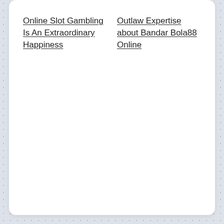Online Slot Gambling Is An Extraordinary Happiness
Outlaw Expertise about Bandar Bola88 Online
NEXT
NFL Soccer Picks That Can Give Your Be...
PREVIOUS
Watch out for the best casino before yo...
To search type and hit enter